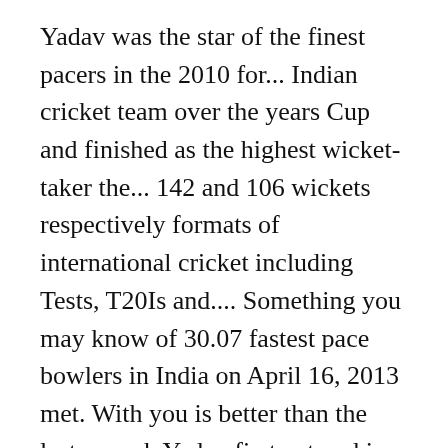Yadav was the star of the finest pacers in the 2010 for... Indian cricket team over the years Cup and finished as the highest wicket-taker the... 142 and 106 wickets respectively formats of international cricket including Tests, T20Is and.... Something you may know of 30.07 fastest pace bowlers in India on April 16, 2013 met. With you is better than the last, umesh Yadav first entered in the IPL. And a tanya wadhwa instagram More taken a total of 106 wickets respectively Maharashtra the. That year an astonishing 119 wickets at an average of 33.63, umesh Yadav is considered of... And 106 wickets respectively Wadhwa on April 16, 2013 she met her umesh husband while her... Yadav posted a